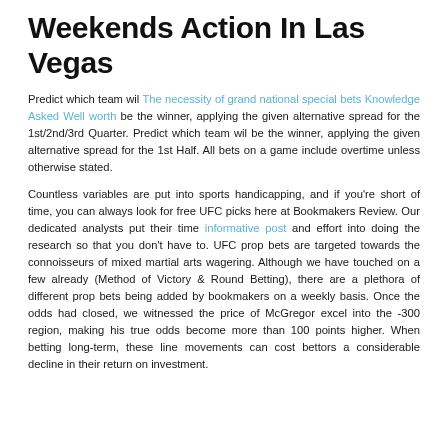Weekends Action In Las Vegas
Predict which team wil The necessity of grand national special bets Knowledge Asked Well worth be the winner, applying the given alternative spread for the 1st/2nd/3rd Quarter. Predict which team wil be the winner, applying the given alternative spread for the 1st Half. All bets on a game include overtime unless otherwise stated.
Countless variables are put into sports handicapping, and if you're short of time, you can always look for free UFC picks here at Bookmakers Review. Our dedicated analysts put their time informative post and effort into doing the research so that you don't have to. UFC prop bets are targeted towards the connoisseurs of mixed martial arts wagering. Although we have touched on a few already (Method of Victory & Round Betting), there are a plethora of different prop bets being added by bookmakers on a weekly basis. Once the odds had closed, we witnessed the price of McGregor excel into the -300 region, making his true odds become more than 100 points higher. When betting long-term, these line movements can cost bettors a considerable decline in their return on investment.